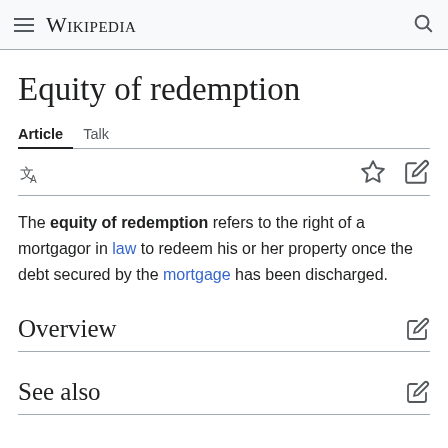Wikipedia
Equity of redemption
Article  Talk
The equity of redemption refers to the right of a mortgagor in law to redeem his or her property once the debt secured by the mortgage has been discharged.
Overview
See also